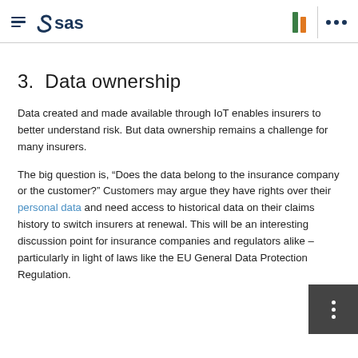SAS logo, Irish flag bars, vertical divider, menu dots
3.  Data ownership
Data created and made available through IoT enables insurers to better understand risk. But data ownership remains a challenge for many insurers.
The big question is, “Does the data belong to the insurance company or the customer?” Customers may argue they have rights over their personal data and need access to historical data on their claims history to switch insurers at renewal. This will be an interesting discussion point for insurance companies and regulators alike – particularly in light of laws like the EU General Data Protection Regulation.